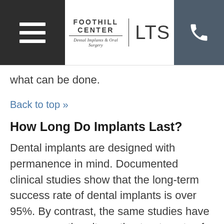FOOTHILL CENTER for Dental Implants & Oral Surgery | LTS
what can be done.
Back to top »
How Long Do Implants Last?
Dental implants are designed with permanence in mind. Documented clinical studies show that the long-term success rate of dental implants is over 95%. By contrast, the same studies have shown the alternative treatments of tooth-supported bridges and dentures/partials to last